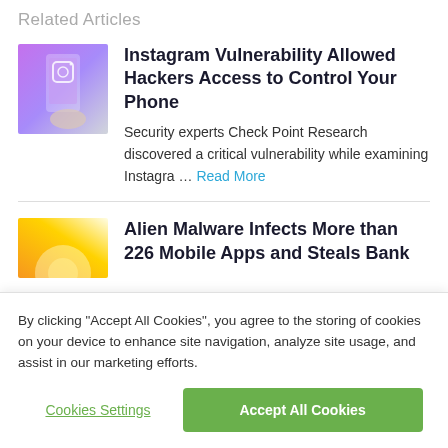Related Articles
Instagram Vulnerability Allowed Hackers Access to Control Your Phone
Security experts Check Point Research discovered a critical vulnerability while examining Instagra … Read More
Alien Malware Infects More than 226 Mobile Apps and Steals Bank
By clicking "Accept All Cookies", you agree to the storing of cookies on your device to enhance site navigation, analyze site usage, and assist in our marketing efforts.